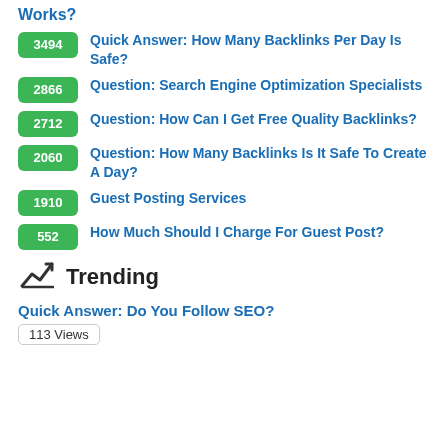Works?
3494 — Quick Answer: How Many Backlinks Per Day Is Safe?
2866 — Question: Search Engine Optimization Specialists
2712 — Question: How Can I Get Free Quality Backlinks?
2060 — Question: How Many Backlinks Is It Safe To Create A Day?
1910 — Guest Posting Services
552 — How Much Should I Charge For Guest Post?
Trending
Quick Answer: Do You Follow SEO?
113 Views